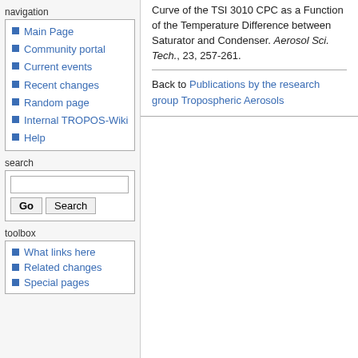Curve of the TSI 3010 CPC as a Function of the Temperature Difference between Saturator and Condenser. Aerosol Sci. Tech., 23, 257-261.
Back to Publications by the research group Tropospheric Aerosols
navigation
Main Page
Community portal
Current events
Recent changes
Random page
Internal TROPOS-Wiki
Help
search
toolbox
What links here
Related changes
Special pages